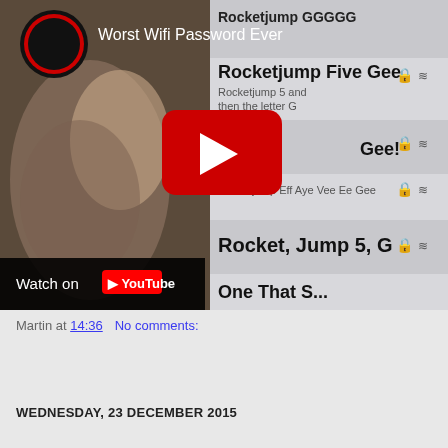[Figure (screenshot): YouTube video thumbnail showing 'Worst Wifi Password Ever' with a phone screen displaying WiFi network names like Rocketjump GGGGG, Rocketjump Five Gee, Rocket...Gee!, Rocketjump Eff Aye Vee Ee Gee, Rocket Jump 5 G, One That S... and a YouTube play button overlay. A 'Watch on YouTube' bar is visible at the bottom left.]
Martin at 14:36    No comments:
Share
WEDNESDAY, 23 DECEMBER 2015